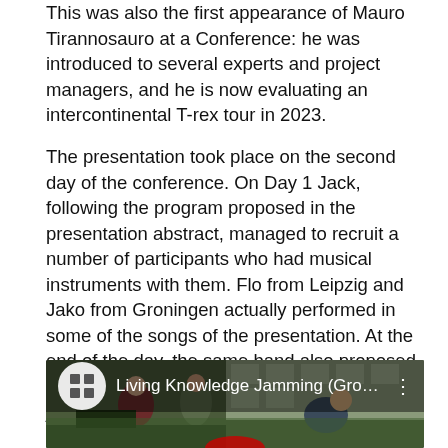This was also the first appearance of Mauro Tirannosauro at a Conference: he was introduced to several experts and project managers, and he is now evaluating an intercontinental T-rex tour in 2023.
The presentation took place on the second day of the conference. On Day 1 Jack, following the program proposed in the presentation abstract, managed to recruit a number of participants who had musical instruments with them. Flo from Leipzig and Jako from Groningen actually performed in some of the songs of the presentation. At the end of the day, the same band also proposed a little street music session also materialized just outside of the Harmony Building:
[Figure (screenshot): YouTube video thumbnail showing 'Living Knowledge Jamming (Groni...' with people playing music outside a building. A YouTube-style icon and three-dot menu visible.]